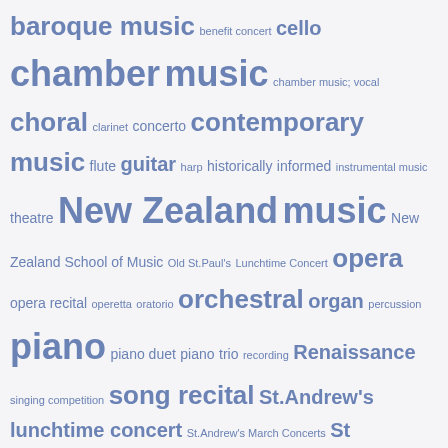[Figure (infographic): Tag cloud of music-related terms in varying font sizes and weights, all in a steel-blue colour on a light grey background. Larger terms indicate higher frequency/importance: chamber music, New Zealand music, orchestral, piano, vocal, students, etc.]